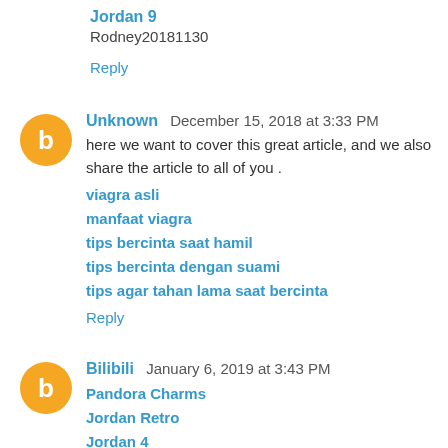Jordan 9
Rodney20181130
Reply
Unknown  December 15, 2018 at 3:33 PM
here we want to cover this great article, and we also share the article to all of you .
viagra asli
manfaat viagra
tips bercinta saat hamil
tips bercinta dengan suami
tips agar tahan lama saat bercinta
Reply
Bilibili  January 6, 2019 at 3:43 PM
Pandora Charms
Jordan Retro
Jordan 4